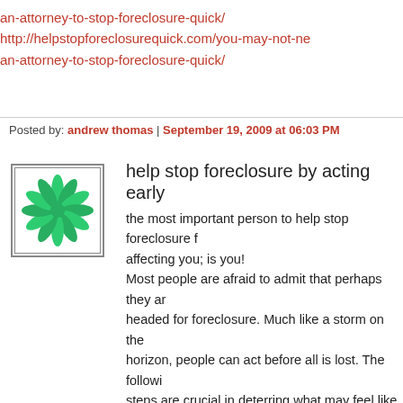an-attorney-to-stop-foreclosure-quick/
http://helpstopforeclosurequick.com/you-may-not-ne-an-attorney-to-stop-foreclosure-quick/
Posted by: andrew thomas | September 19, 2009 at 06:03 PM
[Figure (logo): Green spiral/pinwheel logo in a square border]
help stop foreclosure by acting early
the most important person to help stop foreclosure from affecting you; is you!
Most people are afraid to admit that perhaps they are headed for foreclosure. Much like a storm on the horizon, people can act before all is lost. The following steps are crucial in deterring what may feel like the inevitable from occurring.
1. Come to grips with your situation. Prepare a personal balance sheet determining your income and your expenses. You can then use this balance sheet to forecast your immediate future. Do you have enough income to meet your monthly obligations?